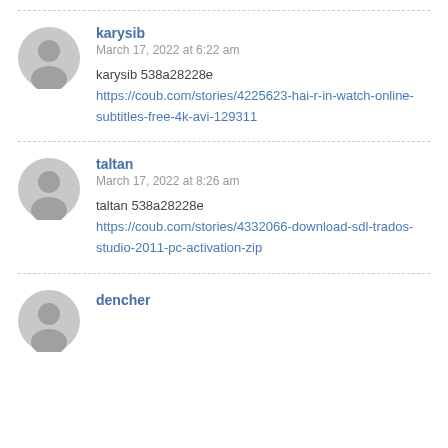[Figure (illustration): Generic user avatar placeholder (gray circle with person silhouette) for user karysib]
karysib
March 17, 2022 at 6:22 am
karysib 538a28228e https://coub.com/stories/4225623-hai-r-in-watch-online-subtitles-free-4k-avi-129311
[Figure (illustration): Generic user avatar placeholder (gray circle with person silhouette) for user taltan]
taltan
March 17, 2022 at 8:26 am
taltan 538a28228e https://coub.com/stories/4332066-download-sdl-trados-studio-2011-pc-activation-zip
[Figure (illustration): Generic user avatar placeholder (gray circle with person silhouette) for user dencher]
dencher